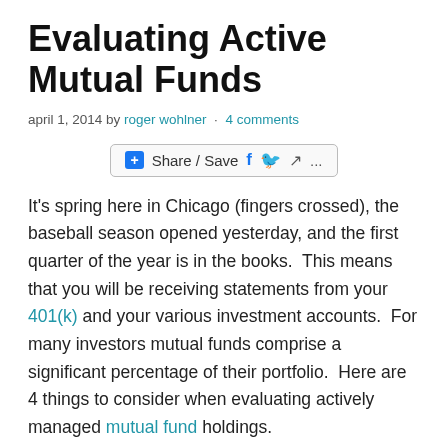Evaluating Active Mutual Funds
april 1, 2014 by roger wohlner · 4 comments
[Figure (infographic): Share/Save button bar with Facebook, Twitter, and forward icons]
It's spring here in Chicago (fingers crossed), the baseball season opened yesterday, and the first quarter of the year is in the books.  This means that you will be receiving statements from your 401(k) and your various investment accounts.  For many investors mutual funds comprise a significant percentage of their portfolio.  Here are 4 things to consider when evaluating actively managed mutual fund holdings.
[Figure (photo): Morningstar FundSpy book cover — red background with white text reading MORNINGSTAR FundSpy and a subtitle about Morningstar's Inside Secrets to Selecting]